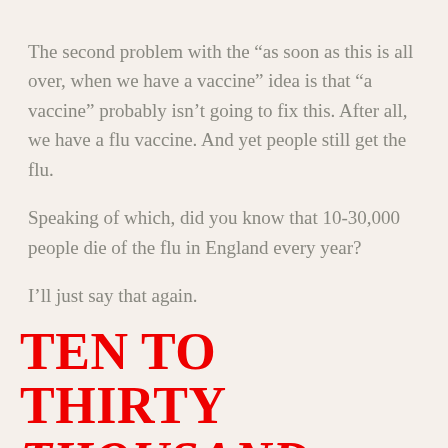The second problem with the “as soon as this is all over, when we have a vaccine” idea is that “a vaccine” probably isn’t going to fix this. After all, we have a flu vaccine. And yet people still get the flu.
Speaking of which, did you know that 10-30,000 people die of the flu in England every year?
I’ll just say that again.
TEN TO THIRTY THOUSAND PEOPLE DIE OF THE FLU EVERY YEAR, IN ENGLAND ALONE